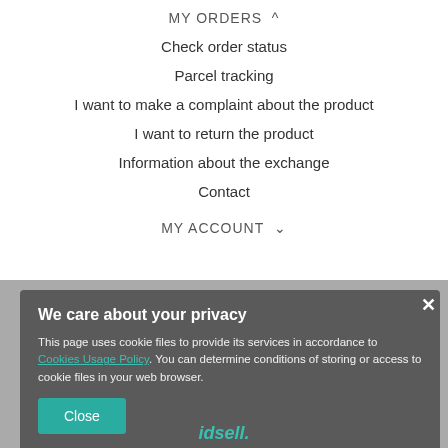MY ORDERS ^
Check order status
Parcel tracking
I want to make a complaint about the product
I want to return the product
Information about the exchange
Contact
MY ACCOUNT v
We care about your privacy

This page uses cookie files to provide its services in accordance to Cookies Usage Policy. You can determine conditions of storing or access to cookie files in your web browser.

Close